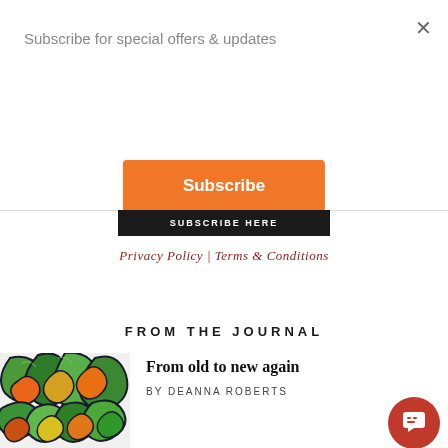Subscribe for special offers & updates
Subscribe
×
SUBSCRIBE HERE
Privacy Policy | Terms & Conditions
FROM THE JOURNAL
[Figure (illustration): Colorful stained glass style artwork with abstract leaf/petal shapes in green, orange, yellow and blue tones]
From old to new again
BY DEANNA ROBERTS